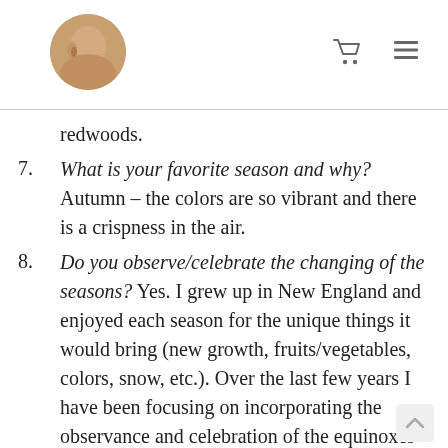[Profile avatar and navigation icons]
redwoods.
7. What is your favorite season and why? Autumn – the colors are so vibrant and there is a crispness in the air.
8. Do you observe/celebrate the changing of the seasons? Yes. I grew up in New England and enjoyed each season for the unique things it would bring (new growth, fruits/vegetables, colors, snow, etc.). Over the last few years I have been focusing on incorporating the observance and celebration of the equinoxes and solstices.